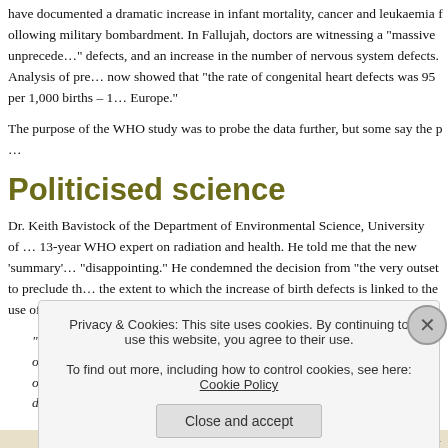have documented a dramatic increase in infant mortality, cancer and leukaemia following military bombardment. In Fallujah, doctors are witnessing a "massive unprecedented" rise in birth defects, and an increase in the number of nervous system defects. Analysis of pre-term births now showed that "the rate of congenital heart defects was 95 per 1,000 births – 13 times higher in Europe."
The purpose of the WHO study was to probe the data further, but some say the p…
Politicised science
Dr. Keith Bavistock of the Department of Environmental Science, University of … 13-year WHO expert on radiation and health. He told me that the new 'summary' was "disappointing." He condemned the decision from "the very outset to preclude the extent to which the increase of birth defects is linked to the use of depleted u… slammed the document's lack of scientific credibility.
“This document is not of scientific quality. It wouldn’t pass peer review in one… of the biggest methodological problems, among many, is that the document do…
Privacy & Cookies: This site uses cookies. By continuing to use this website, you agree to their use.
To find out more, including how to control cookies, see here: Cookie Policy
Close and accept